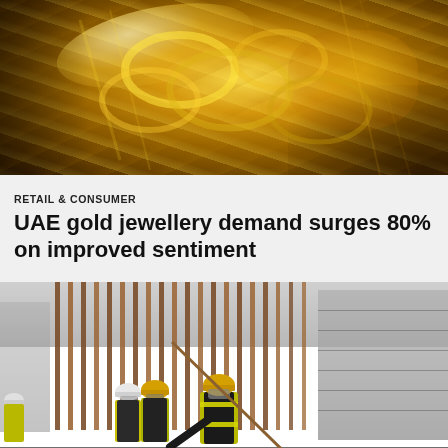[Figure (photo): Close-up photograph of shiny gold jewellery pieces with golden tones and bokeh background]
RETAIL & CONSUMER
UAE gold jewellery demand surges 80% on improved sentiment
[Figure (photo): Construction workers in yellow hard hats and high-visibility vests at a building site with rebar and scaffolding]